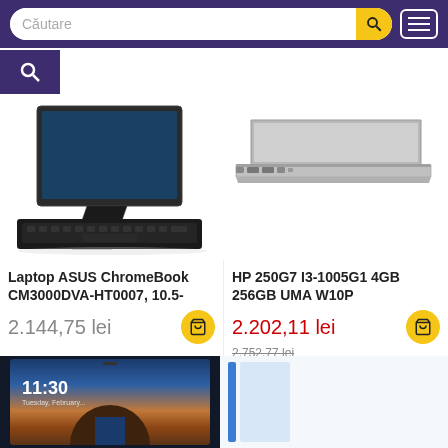[Figure (screenshot): E-commerce website navigation bar with search field reading 'Căutare', yellow search button with magnifier icon, and white hamburger menu button on dark purple background]
[Figure (photo): Left side: ASUS ChromeBook tablet/laptop with detachable keyboard on stand. Right side: HP laptop viewed from side showing ports.]
Laptop ASUS ChromeBook CM3000DVA-HT0007, 10.5-
2.144,75 lei
HP 250G7 I3-1005G1 4GB 256GB UMA W10P
2.202,11 lei
2.752,77 lei
[Figure (screenshot): Bottom left: Microsoft Surface-style tablet showing lock screen with time 11:30 Tuesday February and scenic wallpaper. Bottom right: partial view of a blue laptop/device on white background.]